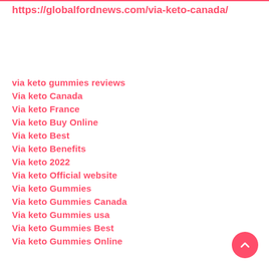https://globalfordnews.com/via-keto-canada/
via keto gummies reviews
Via keto Canada
Via keto France
Via keto Buy Online
Via keto Best
Via keto Benefits
Via keto 2022
Via keto Official website
Via keto Gummies
Via keto Gummies Canada
Via keto Gummies usa
Via keto Gummies Best
Via keto Gummies Online